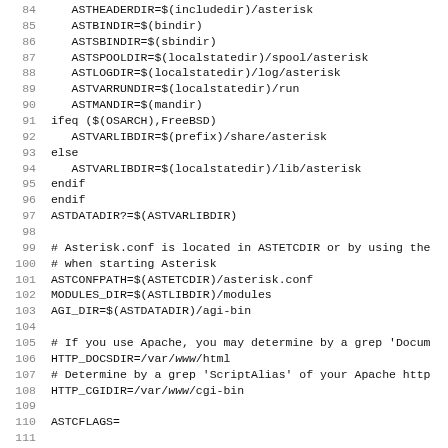Code listing lines 84-115 of a Makefile for Asterisk build configuration
84    ASTHEADERDIR=$(includedir)/asterisk
85    ASTBINDIR=$(bindir)
86    ASTSBINDIR=$(sbindir)
87    ASTSPOOLDIR=$(localstatedir)/spool/asterisk
88    ASTLOGDIR=$(localstatedir)/log/asterisk
89    ASTVARRUNDIR=$(localstatedir)/run
90    ASTMANDIR=$(mandir)
91 ifeq ($(OSARCH),FreeBSD)
92    ASTVARLIBDIR=$(prefix)/share/asterisk
93 else
94    ASTVARLIBDIR=$(localstatedir)/lib/asterisk
95 endif
96 endif
97 ASTDATADIR?=$(ASTVARLIBDIR)
98 
99 # Asterisk.conf is located in ASTETCDIR or by using the
100 # when starting Asterisk
101 ASTCONFPATH=$(ASTETCDIR)/asterisk.conf
102 MODULES_DIR=$(ASTLIBDIR)/modules
103 AGI_DIR=$(ASTDATADIR)/agi-bin
104 
105 # If you use Apache, you may determine by a grep 'Docum
106 HTTP_DOCSDIR=/var/www/html
107 # Determine by a grep 'ScriptAlias' of your Apache http
108 HTTP_CGIDIR=/var/www/cgi-bin
109 
110 ASTCFLAGS=
111 
112 # Uncomment this to use the older DSP routines
113 #ASTCFLAGS+=-DOLD_DSP_ROUTINES
114 
115 # If the file .asterisk.makeopts is present in your hom